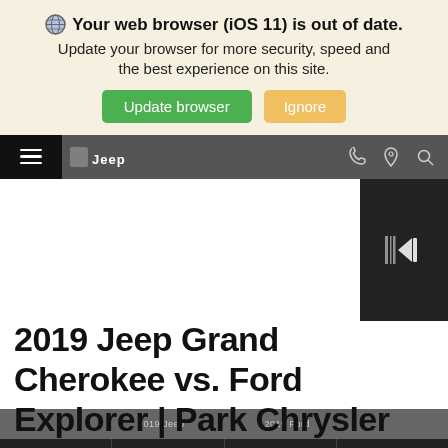🌐 Your web browser (iOS 11) is out of date. Update your browser for more security, speed and the best experience on this site. Update browser | Ignore
[Figure (screenshot): Jeep dealership website navigation bar with hamburger menu, Jeep logo, and icons for phone, location, and search on a dark grey background]
[Figure (screenshot): Dark panel on right side with a barcode/scan icon]
2019 Jeep Grand Cherokee vs. Ford Explorer | Park Chrysler Jeep
[Figure (screenshot): Bottom strip showing 2019 Jeep and 2019 Ford labels on a dark background]
[Figure (screenshot): Bottom action bar with Search, Saved, Share, and Contact buttons on dark background]